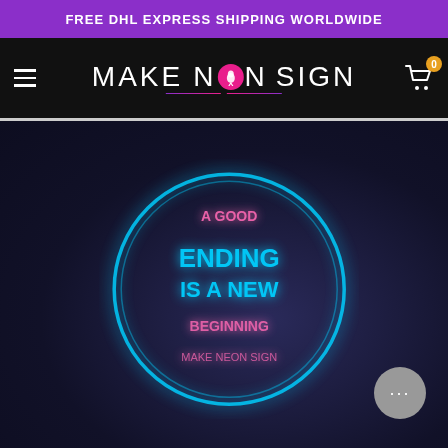FREE DHL EXPRESS SHIPPING WORLDWIDE
[Figure (logo): Make Neon Sign logo with flamingo icon on black navigation bar with hamburger menu and shopping cart]
[Figure (photo): Blurred neon sign image showing a circular neon sign with cyan/blue and pink/magenta glowing text on dark background]